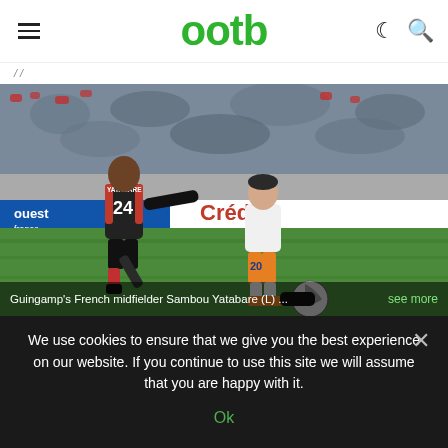ootb
[Figure (photo): Soccer match photo showing Guingamp player Sambou Yatabare wearing number 24 black and red kit challenging an opponent in orange Montpellier kit on the pitch, with crowd in background and Crédit Agricole advertising board visible.]
Guingamp's French midfielder Sambou Yatabare (L) ... see more
We use cookies to ensure that we give you the best experience on our website. If you continue to use this site we will assume that you are happy with it.
Ok